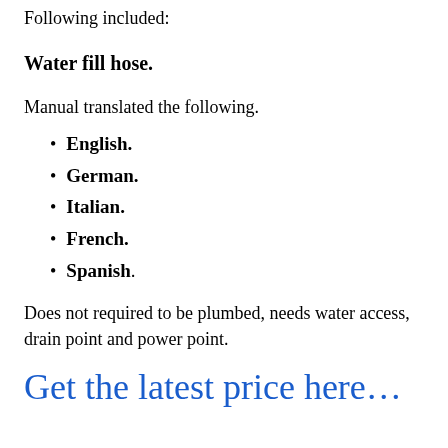Following included:
Water fill hose.
Manual translated the following.
English.
German.
Italian.
French.
Spanish.
Does not required to be plumbed, needs water access, drain point and power point.
Get the latest price here…